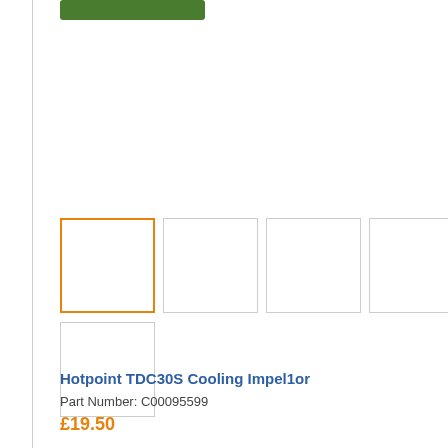[Figure (other): Product thumbnail images: 4 small square image placeholders in a row (first selected with orange border), and 1 additional thumbnail below]
Hotpoint TDC30S Cooling Impel1or
Part Number: C00095599
£19.50
Product Details »